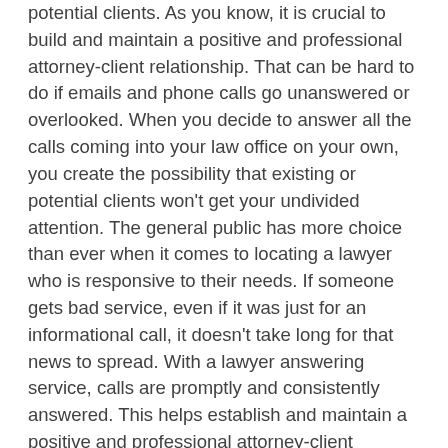potential clients. As you know, it is crucial to build and maintain a positive and professional attorney-client relationship. That can be hard to do if emails and phone calls go unanswered or overlooked. When you decide to answer all the calls coming into your law office on your own, you create the possibility that existing or potential clients won't get your undivided attention. The general public has more choice than ever when it comes to locating a lawyer who is responsive to their needs. If someone gets bad service, even if it was just for an informational call, it doesn't take long for that news to spread. With a lawyer answering service, calls are promptly and consistently answered. This helps establish and maintain a positive and professional attorney-client relationship.
Helps Determine Whether a Call Is Truly an Emergency
Clients and potential clients are in a hard spot